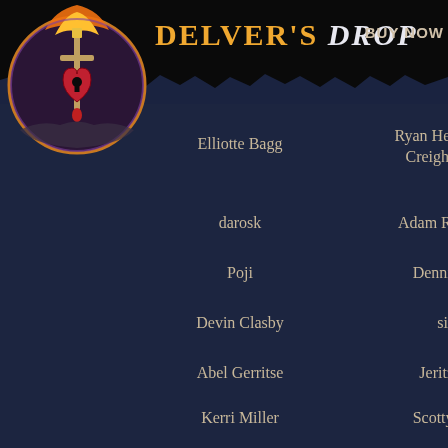DELVER'S DROP  BUY NOW
[Figure (logo): Delver's Drop game logo — circular emblem with heart, key, and flame motifs in orange/gold on dark purple/maroon background]
Elliotte Bagg
Ryan Henson Creighton
Jason
Dan
Dan
darosk
Adam Raszkiewicz
Lee Vo
Poji
Dennis Frazier
Thom
Devin Clasby
sickley
van
Abel Gerritse
Jeritza Goris
Ka
Kerri Miller
Scotty Bridges
Flutt
Garon and Lindsay Todd
Sébastien Delahaye